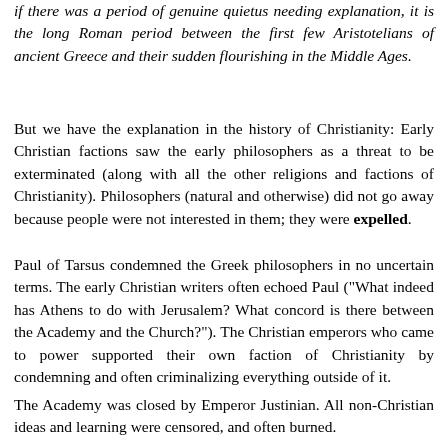if there was a period of genuine quietus needing explanation, it is the long Roman period between the first few Aristotelians of ancient Greece and their sudden flourishing in the Middle Ages.
But we have the explanation in the history of Christianity: Early Christian factions saw the early philosophers as a threat to be exterminated (along with all the other religions and factions of Christianity). Philosophers (natural and otherwise) did not go away because people were not interested in them; they were expelled.
Paul of Tarsus condemned the Greek philosophers in no uncertain terms. The early Christian writers often echoed Paul ("What indeed has Athens to do with Jerusalem? What concord is there between the Academy and the Church?"). The Christian emperors who came to power supported their own faction of Christianity by condemning and often criminalizing everything outside of it.
The Academy was closed by Emperor Justinian. All non-Christian ideas and learning were censored, and often burned.